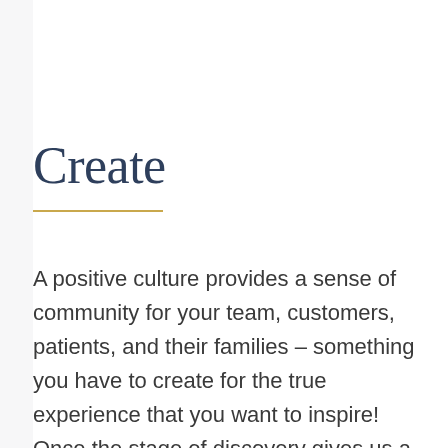Create
A positive culture provides a sense of community for your team, customers, patients, and their families – something you have to create for the true experience that you want to inspire! Once the stage of discovery gives us a sense of the tools needed, a plan of action can be designed – whether through keynote presentations to the leaders and organization, facilitated workshops for deeper interaction, executive coaching, or a combination of many tools